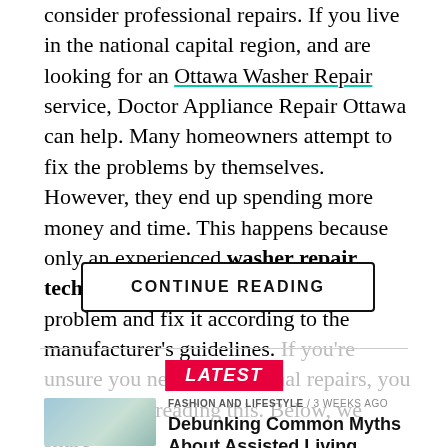consider professional repairs. If you live in the national capital region, and are looking for an Ottawa Washer Repair service, Doctor Appliance Repair Ottawa can help. Many homeowners attempt to fix the problems by themselves. However, they end up spending more money and time. This happens because only an experienced washer repair technician can discover the actual problem and fix it according to the manufacturer's guidelines. If you're unsure you need professional repairs, you should keep reading this. Below, we share
CONTINUE READING
LATEST
FASHION AND LIFESTYLE / 3 weeks ago
Debunking Common Myths About Assisted Living